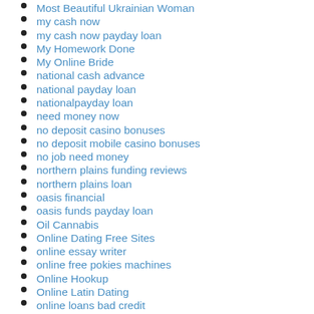Most Beautiful Ukrainian Woman
my cash now
my cash now payday loan
My Homework Done
My Online Bride
national cash advance
national payday loan
nationalpayday loan
need money now
no deposit casino bonuses
no deposit mobile casino bonuses
no job need money
northern plains funding reviews
northern plains loan
oasis financial
oasis funds payday loan
Oil Cannabis
Online Dating Free Sites
online essay writer
online free pokies machines
Online Hookup
Online Latin Dating
online loans bad credit